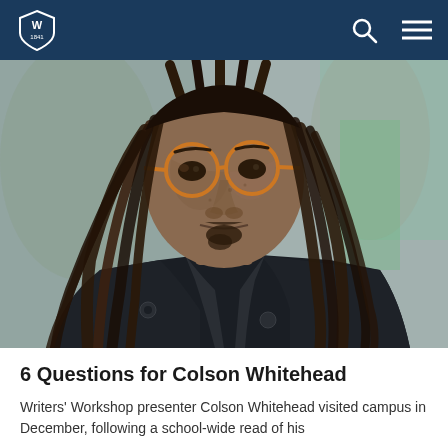Western University navigation bar with logo, search, and menu
[Figure (photo): Close-up portrait photograph of Colson Whitehead, a Black man with long dreadlocks wearing round amber/orange eyeglasses and a dark jacket, photographed outdoors with a blurred background.]
6 Questions for Colson Whitehead
Writers' Workshop presenter Colson Whitehead visited campus in December, following a school-wide read of his